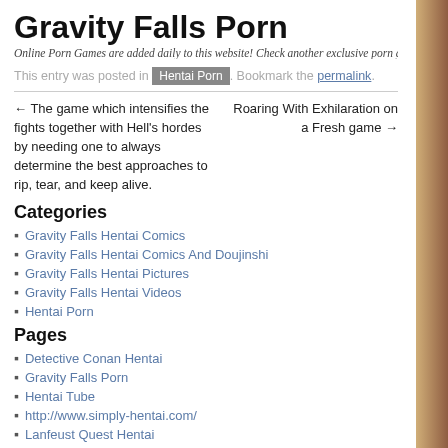Gravity Falls Porn
Online Porn Games are added daily to this website! Check another exclusive porn game
This entry was posted in Hentai Porn. Bookmark the permalink.
← The game which intensifies the fights together with Hell's hordes by needing one to always determine the best approaches to rip, tear, and keep alive.
Roaring With Exhilaration on a Fresh game →
Categories
Gravity Falls Hentai Comics
Gravity Falls Hentai Comics And Doujinshi
Gravity Falls Hentai Pictures
Gravity Falls Hentai Videos
Hentai Porn
Pages
Detective Conan Hentai
Gravity Falls Porn
Hentai Tube
http://www.simply-hentai.com/
Lanfeust Quest Hentai
Mortal Kombat Hentai